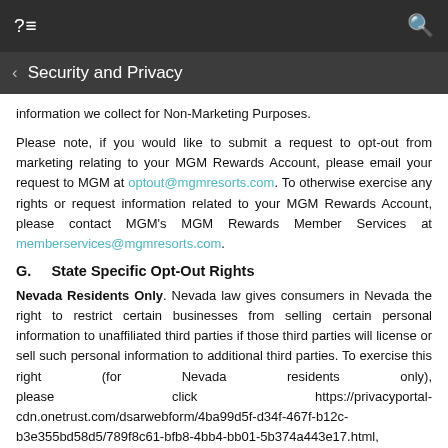?≡   Security and Privacy   🔍
information we collect for Non-Marketing Purposes.
Please note, if you would like to submit a request to opt-out from marketing relating to your MGM Rewards Account, please email your request to MGM at optout@mgmresorts.com. To otherwise exercise any rights or request information related to your MGM Rewards Account, please contact MGM's MGM Rewards Member Services at memberservices@mgmresorts.com.
G.    State Specific Opt-Out Rights
Nevada Residents Only. Nevada law gives consumers in Nevada the right to restrict certain businesses from selling certain personal information to unaffiliated third parties if those third parties will license or sell such personal information to additional third parties. To exercise this right (for Nevada residents only), please click https://privacyportal-cdn.onetrust.com/dsarwebform/4ba99d5f-d34f-467f-b12c-b3e355bd58d5/789f8c61-bfb8-4bb4-bb01-5b374a443e17.html,